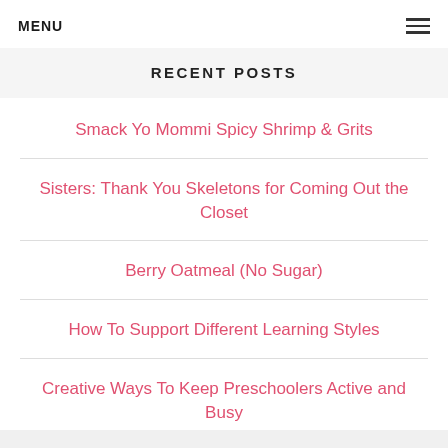MENU
RECENT POSTS
Smack Yo Mommi Spicy Shrimp & Grits
Sisters: Thank You Skeletons for Coming Out the Closet
Berry Oatmeal (No Sugar)
How To Support Different Learning Styles
Creative Ways To Keep Preschoolers Active and Busy